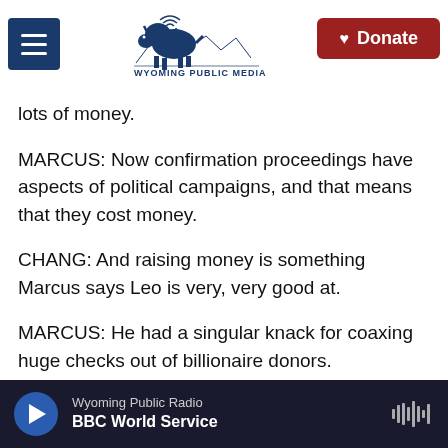Wyoming Public Media | Donate
lots of money.
MARCUS: Now confirmation proceedings have aspects of political campaigns, and that means that they cost money.
CHANG: And raising money is something Marcus says Leo is very, very good at.
MARCUS: He had a singular knack for coaxing huge checks out of billionaire donors.
CHANG: A Washington Post analysis found Leo and his allies raised $250 million between 2014 and
Wyoming Public Radio
BBC World Service